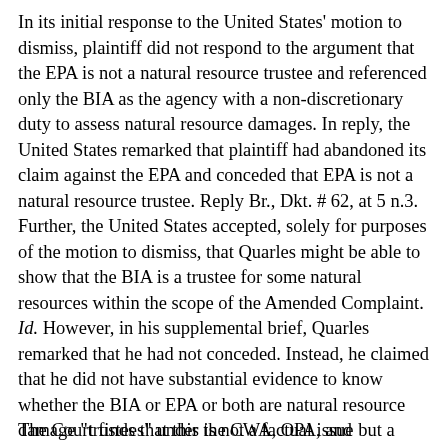In its initial response to the United States' motion to dismiss, plaintiff did not respond to the argument that the EPA is not a natural resource trustee and referenced only the BIA as the agency with a non-discretionary duty to assess natural resource damages. In reply, the United States remarked that plaintiff had abandoned its claim against the EPA and conceded that EPA is not a natural resource trustee. Reply Br., Dkt. # 62, at 5 n.3. Further, the United States accepted, solely for purposes of the motion to dismiss, that Quarles might be able to show that the BIA is a trustee for some natural resources within the scope of the Amended Complaint. Id. However, in his supplemental brief, Quarles remarked that he had not conceded. Instead, he claimed that he did not have substantial evidence to know whether the BIA or EPA or both are natural resource damage "trustees" under the CWA, OPA, and CERCLA. He also claimed that the Osage Tribe could be a trustee under 33 U.S.C. § 2706(b)(4).
The Court finds that this is not a factual issue but a legal